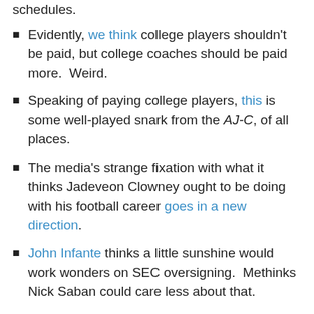schedules.
Evidently, we think college players shouldn't be paid, but college coaches should be paid more. Weird.
Speaking of paying college players, this is some well-played snark from the AJ-C, of all places.
The media's strange fixation with what it thinks Jadeveon Clowney ought to be doing with his football career goes in a new direction.
John Infante thinks a little sunshine would work wonders on SEC oversigning. Methinks Nick Saban could care less about that.
March Madness usually inspires some really stupid thoughts about what college football can take from the basketball tourney, and CFN delivers, in spades.
If you're a Vol fan living in a certain place, Charlie Pierce describes how the Georgia-Tennessee water war could lead to your worst nightmare.